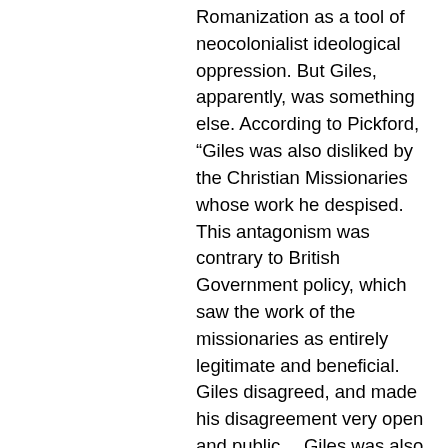Romanization as a tool of neocolonialist ideological oppression. But Giles, apparently, was something else. According to Pickford, “Giles was also disliked by the Christian Missionaries whose work he despised. This antagonism was contrary to British Government policy, which saw the work of the missionaries as entirely legitimate and beneficial. Giles disagreed, and made his disagreement very open and public… Giles was also unpopular with the British traders because he opposed the overcrowding of emigrant Chinese on British ships. In 1881 he was presented with a Red Umbrella by the Hsiamen Chinese Chamber of Commerce in recognition of this service to the Chinese people.”
All my adult life, the names Wade and Giles, the first two professors of Chinese at